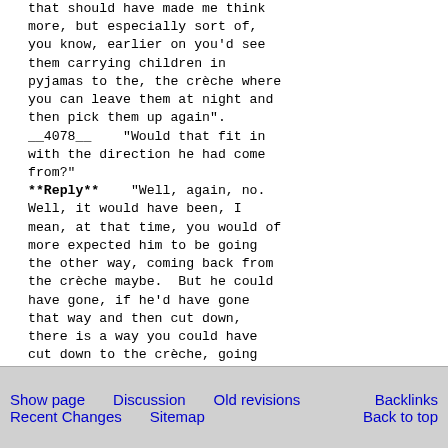that should have made me think more, but especially sort of, you know, earlier on you'd see them carrying children in pyjamas to the, the crèche where you can leave them at night and then pick them up again".
__4078__    "Would that fit in with the direction he had come from?"
**Reply**    "Well, again, no. Well, it would have been, I mean, at that time, you would of more expected him to be going the other way, coming back from the crèche maybe.  But he could have gone, if he'd have gone that way and then cut down, there is a way you could have cut down to the crèche, going that way, so".
__4078__    "Okay".

**Reply**    "So...
Show page   Discussion   Old revisions   Backlinks
Recent Changes   Sitemap   Back to top